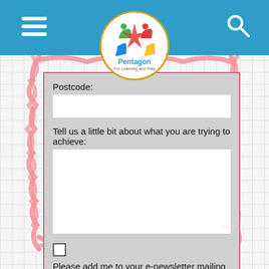[Figure (logo): Pentagon For Learning and Play circular logo with colorful star/person figures, gold border, on white circle]
Postcode:
Tell us a little bit about what you are trying to achieve:
Please add me to your e-newsletter mailing list
Send